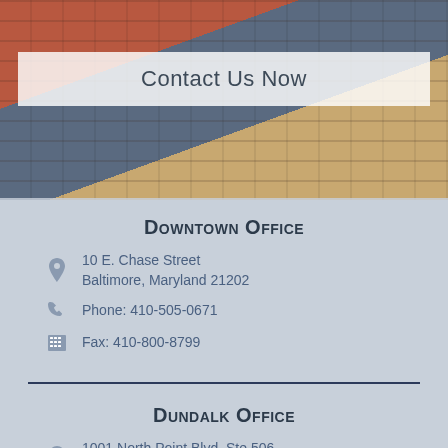[Figure (photo): Building exterior photo showing office architecture with brick and glass facade]
Contact Us Now
Downtown Office
10 E. Chase Street Baltimore, Maryland 21202
Phone: 410-505-0671
Fax: 410-800-8799
Dundalk Office
1001 North Point Blvd, Ste 506 Baltimore, Maryland 21224